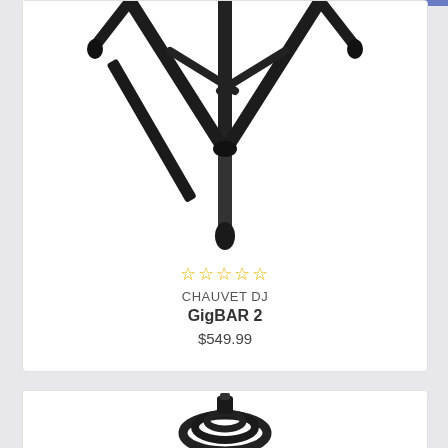[Figure (photo): Bottom portion of a black tripod stand (CHAUVET DJ GigBAR 2) showing the legs and center pole against a white background]
☆☆☆☆☆
CHAUVET DJ
GigBAR 2
$549.99
[Figure (photo): Partial view of a coiled black cable or accessory at the bottom of the page]